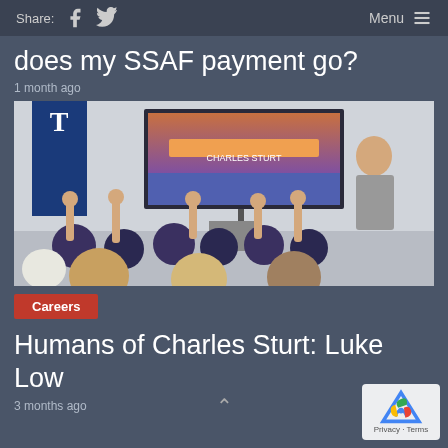Share: [facebook] [twitter]   Menu ≡
does my SSAF payment go?
1 month ago
[Figure (photo): Classroom scene with students in dark uniforms raising their hands toward a presenter standing at the front next to a large presentation screen showing a colorful slide. A blue banner is visible on the left side.]
Careers
Humans of Charles Sturt: Luke Low
3 months ago